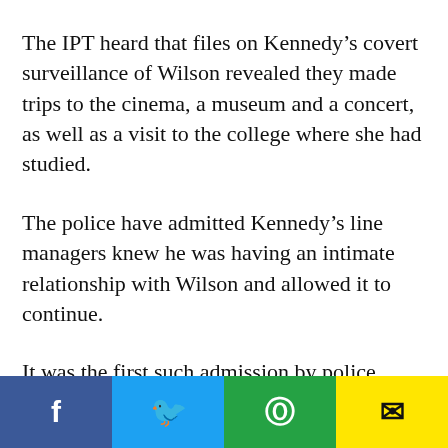The IPT heard that files on Kennedy’s covert surveillance of Wilson revealed they made trips to the cinema, a museum and a concert, as well as a visit to the college where she had studied.
The police have admitted Kennedy’s line managers knew he was having an intimate relationship with Wilson and allowed it to continue.
It was the first such admission by police
Social share bar: Facebook, Twitter, WhatsApp, Email